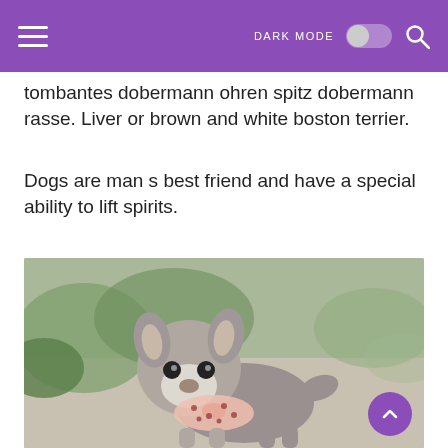DARK MODE [toggle] [search]
tombantes dobermann ohren spitz dobermann rasse. Liver or brown and white boston terrier.
Dogs are man s best friend and have a special ability to lift spirits.
[Figure (photo): A small Boston Terrier puppy with gray and white coloring wearing a pink polka-dot bow/bandana around its neck, standing outdoors on a path with green plants in the background.]